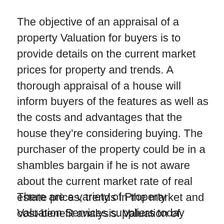The objective of an appraisal of a property Valuation for buyers is to provide details on the current market prices for property and trends. A thorough appraisal of a house will inform buyers of the features as well as the costs and advantages that the house they're considering buying. The purchaser of the property could be in a shambles bargain if he is not aware about the current market rate of real estate prices, trends in the market and cost-benefit analysis. Valuation of property protects buyers from fraud and scams that can cause buyers to pay more for a property than what it's worth. In addition, this method provides exact information to the buyer which makes it easier to borrow as well as financing.
There are a variety of Property Valuation Services suppliers today which also offer online services for